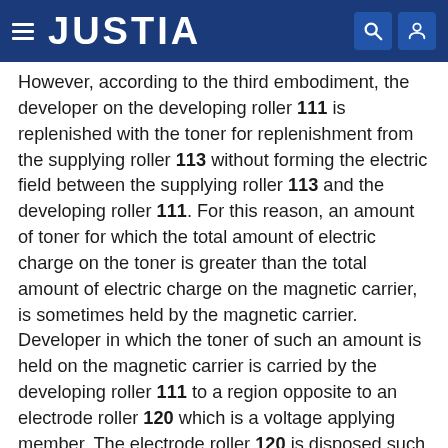JUSTIA
However, according to the third embodiment, the developer on the developing roller 111 is replenished with the toner for replenishment from the supplying roller 113 without forming the electric field between the supplying roller 113 and the developing roller 111. For this reason, an amount of toner for which the total amount of electric charge on the toner is greater than the total amount of electric charge on the magnetic carrier, is sometimes held by the magnetic carrier. Developer in which the toner of such an amount is held on the magnetic carrier is carried by the developing roller 111 to a region opposite to an electrode roller 120 which is a voltage applying member. The electrode roller 120 is disposed such that the minimum distance between the electrode roller 120 and the developing roller 111 is 500 μm. Further, an AC voltage is applied between the electrode roller 120 and the developing